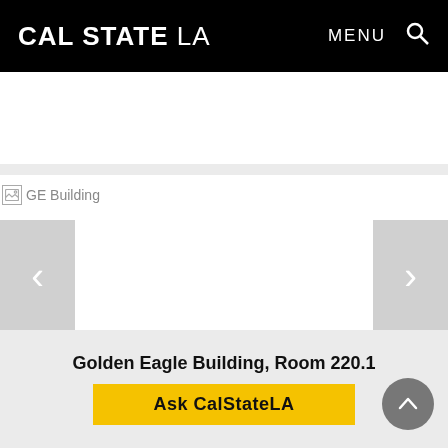CAL STATE LA  MENU 🔍
GOLDEN EAGLE SERVICE CENTER MENU
[Figure (photo): Placeholder broken image labeled 'GE Building' inside an image carousel with left and right navigation arrows]
Golden Eagle Building, Room 220.1
Ask CalStateLA